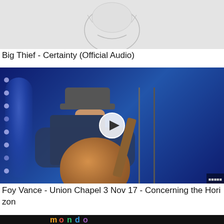[Figure (screenshot): Partial video thumbnail for Big Thief - Certainty (Official Audio), showing a light gray background with faint sketch/illustration.]
Big Thief - Certainty (Official Audio)
[Figure (screenshot): Video thumbnail showing a musician performing on stage with a guitar and microphone, wearing a flat cap, blue stage lighting in background, with a play button overlay.]
Foy Vance - Union Chapel 3 Nov 17 - Concerning the Horizon
[Figure (screenshot): Partial video thumbnail at bottom with dark background and colorful logo text visible.]